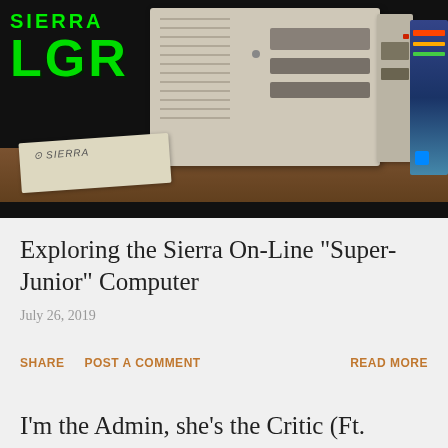[Figure (photo): Thumbnail image showing vintage computers on a wooden desk with the Sierra LGR logo overlaid in green text on the left side. A Sierra branded paper is visible in the foreground.]
Exploring the Sierra On-Line "Super-Junior" Computer
July 26, 2019
SHARE   POST A COMMENT   READ MORE
I'm the Admin, she's the Critic (Ft.